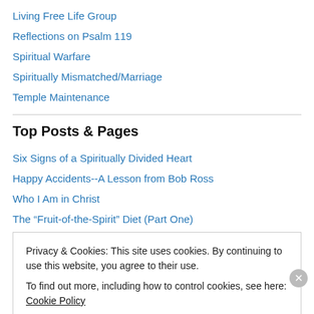Living Free Life Group
Reflections on Psalm 119
Spiritual Warfare
Spiritually Mismatched/Marriage
Temple Maintenance
Top Posts & Pages
Six Signs of a Spiritually Divided Heart
Happy Accidents--A Lesson from Bob Ross
Who I Am in Christ
The “Fruit-of-the-Spirit” Diet (Part One)
Privacy & Cookies: This site uses cookies. By continuing to use this website, you agree to their use. To find out more, including how to control cookies, see here: Cookie Policy
Close and accept